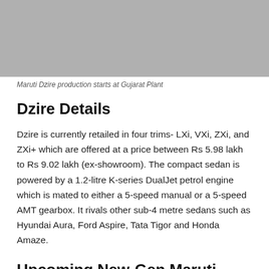[Figure (photo): Gray placeholder image representing Maruti Dzire production at Gujarat Plant]
Maruti Dzire production starts at Gujarat Plant
Dzire Details
Dzire is currently retailed in four trims- LXi, VXi, ZXi, and ZXi+ which are offered at a price between Rs 5.98 lakh to Rs 9.02 lakh (ex-showroom). The compact sedan is powered by a 1.2-litre K-series DualJet petrol engine which is mated to either a 5-speed manual or a 5-speed AMT gearbox. It rivals other sub-4 metre sedans such as Hyundai Aura, Ford Aspire, Tata Tigor and Honda Amaze.
Upcoming New-Gen Maruti SUVs